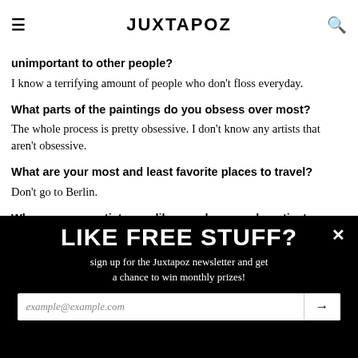JUXTAPOZ
unimportant to other people?
I know a terrifying amount of people who don't floss everyday.
What parts of the paintings do you obsess over most?
The whole process is pretty obsessive. I don't know any artists that aren't obsessive.
What are your most and least favorite places to travel?
Don't go to Berlin.
Who are some artists you like, or whose work motivates you to paint harder?
My favorite painter right now is Jordan Kasey. Hey, Jordan, please notice me. As far as motivation, nothing gets me
LIKE FREE STUFF? sign up for the Juxtapoz newsletter and get a chance to win monthly prizes! example@example.com